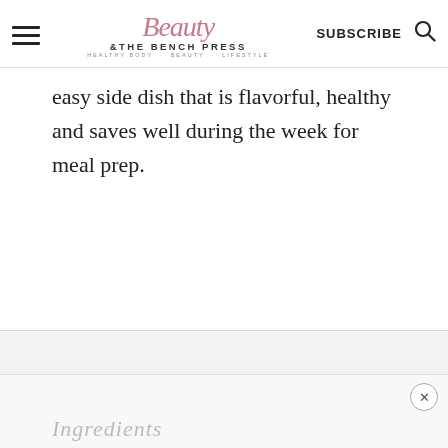Beauty & The Bench Press — SUBSCRIBE
easy side dish that is flavorful, healthy and saves well during the week for meal prep.
Ingredients